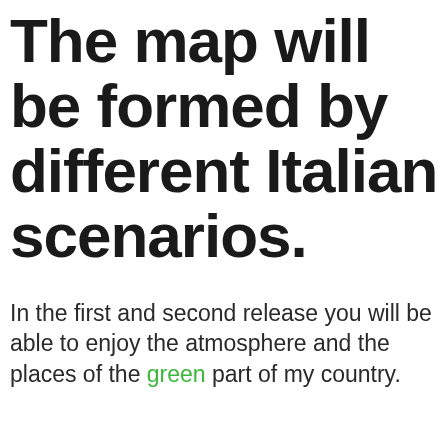The map will be formed by different Italian scenarios.
In the first and second release you will be able to enjoy the atmosphere and the places of the green part of my country.